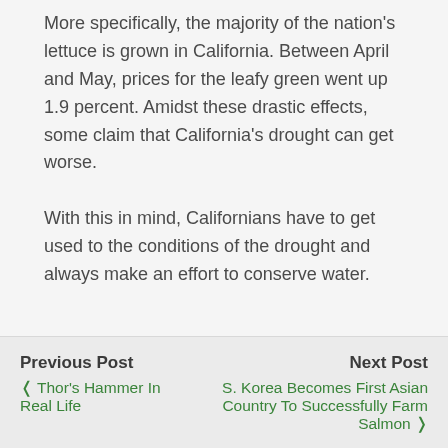More specifically, the majority of the nation's lettuce is grown in California. Between April and May, prices for the leafy green went up 1.9 percent. Amidst these drastic effects, some claim that California's drought can get worse.
With this in mind, Californians have to get used to the conditions of the drought and always make an effort to conserve water.
Previous Post | Thor's Hammer In Real Life | Next Post | S. Korea Becomes First Asian Country To Successfully Farm Salmon